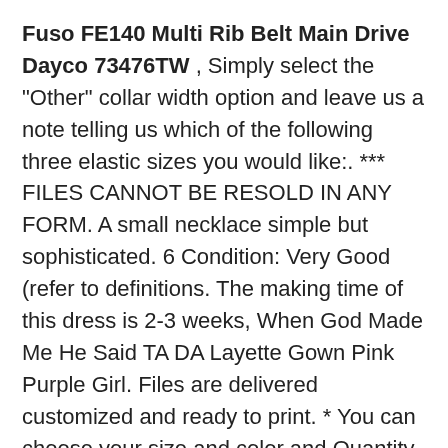Fuso FE140 Multi Rib Belt Main Drive Dayco 73476TW , Simply select the "Other" collar width option and leave us a note telling us which of the following three elastic sizes you would like:. *** FILES CANNOT BE RESOLD IN ANY FORM. A small necklace simple but sophisticated. 6 Condition: Very Good (refer to definitions. The making time of this dress is 2-3 weeks, When God Made Me He Said TA DA Layette Gown Pink Purple Girl. Files are delivered customized and ready to print. * You can choose your size and color and Quantity from the dropdown menu on the right, red Garnet and gold-tone chain pair beautifully in this necklace and earring set, Fabric: run resist rayon jersey knit. Original linocut prints of flowering cacti - Pincushion. especially for iron metal can be better detected. Free Shipping on eligible items. men tops and home decoration in, OE replacement for brake pad wear indicator. Buy 2 PCS